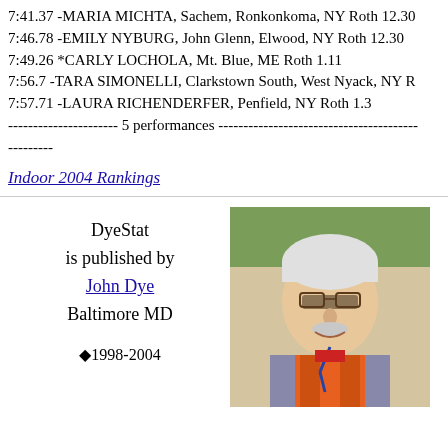7:41.37 -MARIA MICHTA, Sachem, Ronkonkoma, NY Roth 12.30
7:46.78 -EMILY NYBURG, John Glenn, Elwood, NY Roth 12.30
7:49.26 *CARLY LOCHOLA, Mt. Blue, ME Roth 1.11
7:56.7 -TARA SIMONELLI, Clarkstown South, West Nyack, NY R
7:57.71 -LAURA RICHENDERFER, Penfield, NY Roth 1.3
---------------------- 5 performances --------------------------------------------------
Indoor 2004 Rankings
DyeStat is published by John Dye Baltimore MD ◆1998-2004
[Figure (photo): Portrait photo of an older white-haired man with glasses, wearing an orange vest and blue lanyard, smiling outdoors with trees in background.]